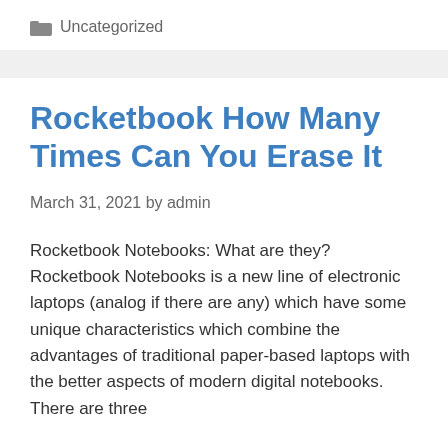Uncategorized
Rocketbook How Many Times Can You Erase It
March 31, 2021 by admin
Rocketbook Notebooks: What are they? Rocketbook Notebooks is a new line of electronic laptops (analog if there are any) which have some unique characteristics which combine the advantages of traditional paper-based laptops with the better aspects of modern digital notebooks. There are three